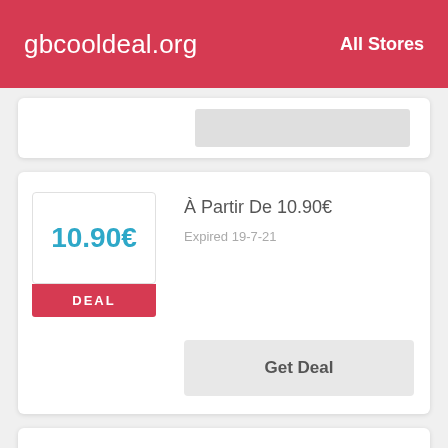gbcooldeal.org   All Stores
[Figure (screenshot): Partially visible deal card with a grey placeholder image on the right]
À Partir De 10.90€
Expired 19-7-21
10.90€
DEAL
Get Deal
Règlementation Munitions Low To 6,90 € At Made In Chasse
Expired 16-6-22
DEAL